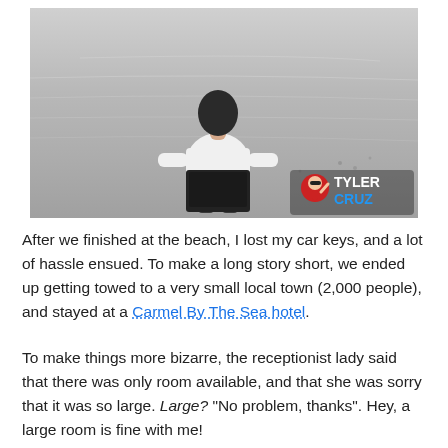[Figure (photo): A person in a white t-shirt sitting on a sandy beach, viewed from behind, with sandy terrain stretching to the horizon. A TylerCruz watermark logo appears in the bottom right corner of the photo.]
After we finished at the beach, I lost my car keys, and a lot of hassle ensued. To make a long story short, we ended up getting towed to a very small local town (2,000 people), and stayed at a Carmel By The Sea hotel.
To make things more bizarre, the receptionist lady said that there was only room available, and that she was sorry that it was so large. Large? “No problem, thanks”. Hey, a large room is fine with me!